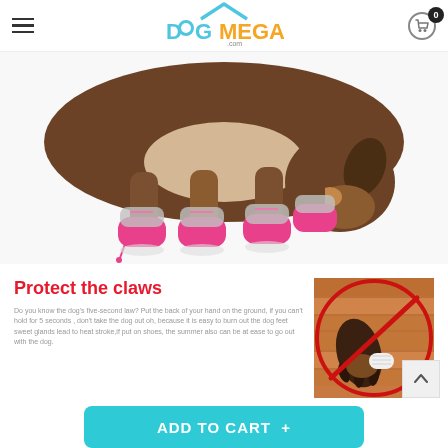DOGMEGA.COM navigation header with hamburger menu and cart icon showing 0 items
[Figure (photo): Dog wearing pink booties/shoes on all four paws, bending its head down toward the ground on a white background]
Protect the claws
Do you know the dog's five-second law? Put the back of your hand on the ground, if you can't hold for 5 seconds , don't take the dog out oh, because it is easy to burn out the dog feet sweet glands lead to heat stroke,if put on shoes, the summer also can be at ease to go out with the dog.
[Figure (photo): Dog paw on wooden floor with a red circle-and-slash prohibition symbol overlaid on top]
ADD TO CART +